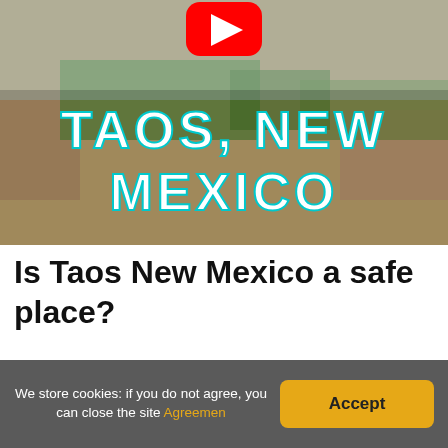[Figure (screenshot): YouTube thumbnail showing an outdoor plaza in Taos, New Mexico with large bold text reading 'TAOS, NEW MEXICO' in cyan/white letters with a YouTube play button icon at top center.]
Is Taos New Mexico a safe place?
Taos is in the 4th percentile for safety, meaning 96% of cities are safer and 4% of cities are more dangerous. This analysis applies to Taos's proper boundaries only. See the table on nearby places below for nearby cities. The rate of crime in Taos is 95.61 per 1,000 residents during a standard year.
We store cookies: if you do not agree, you can close the site Agreemen